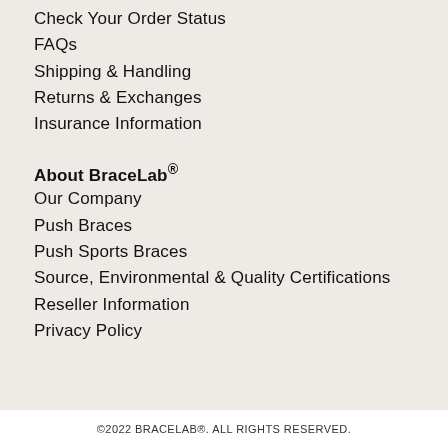Check Your Order Status
FAQs
Shipping & Handling
Returns & Exchanges
Insurance Information
About BraceLab®
Our Company
Push Braces
Push Sports Braces
Source, Environmental & Quality Certifications
Reseller Information
Privacy Policy
©2022 BRACELAB®. ALL RIGHTS RESERVED.